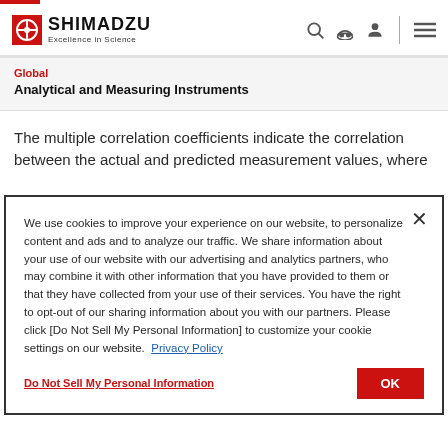SHIMADZU Excellence in Science
Global
Analytical and Measuring Instruments
The multiple correlation coefficients indicate the correlation between the actual and predicted measurement values, where
We use cookies to improve your experience on our website, to personalize content and ads and to analyze our traffic. We share information about your use of our website with our advertising and analytics partners, who may combine it with other information that you have provided to them or that they have collected from your use of their services. You have the right to opt-out of our sharing information about you with our partners. Please click [Do Not Sell My Personal Information] to customize your cookie settings on our website.  Privacy Policy
Do Not Sell My Personal Information
OK